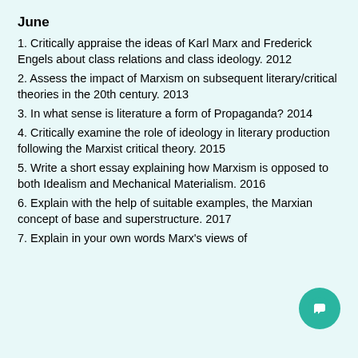June
1. Critically appraise the ideas of Karl Marx and Frederick Engels about class relations and class ideology. 2012
2. Assess the impact of Marxism on subsequent literary/critical theories in the 20th century. 2013
3. In what sense is literature a form of Propaganda? 2014
4. Critically examine the role of ideology in literary production following the Marxist critical theory. 2015
5. Write a short essay explaining how Marxism is opposed to both Idealism and Mechanical Materialism. 2016
6. Explain with the help of suitable examples, the Marxian concept of base and superstructure. 2017
7. Explain in your own words Marx's views of